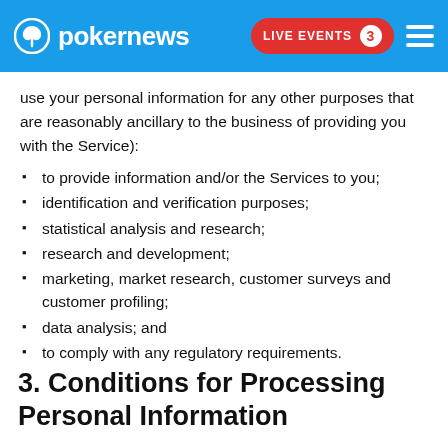pokernews — LIVE EVENTS 3
use your personal information for any other purposes that are reasonably ancillary to the business of providing you with the Service):
to provide information and/or the Services to you;
identification and verification purposes;
statistical analysis and research;
research and development;
marketing, market research, customer surveys and customer profiling;
data analysis; and
to comply with any regulatory requirements.
3. Conditions for Processing Personal Information